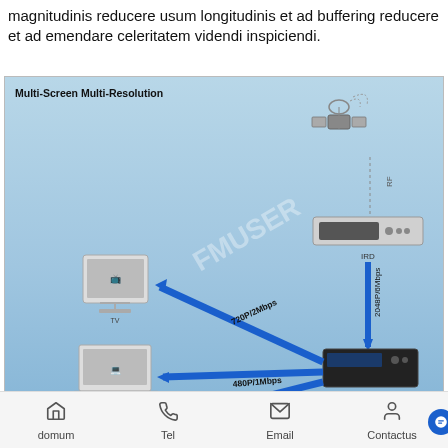magnitudinis reducere usum longitudinis et ad buffering reducere et ad emendare celeritatem videndi inspiciendi.
[Figure (infographic): Multi-Screen Multi-Resolution diagram showing an FBE300 transcoder receiving 2048P/6Mbps from an IRD (connected to satellite via RF), then outputting 720P/2Mbps to a TV and 480P/1Mbps to a Computer (and a third stream partially visible). FMUSER watermark visible. Blue arrow lines show signal flow.]
domum   Tel   Email   Contactus